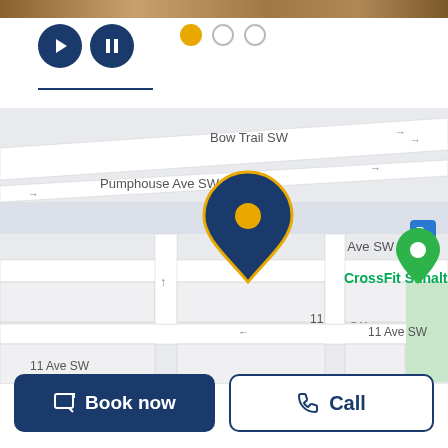[Figure (screenshot): Top image strip showing partial photo (brownish/warm tones)]
[Figure (other): Media playback controls: play button (dark navy circle with triangle), pause button (dark navy circle with two bars), and three pagination dots (first filled orange/yellow, second and third empty/grey outline)]
[Figure (map): Street map showing Bow Trail SW, Pumphouse Ave SW, 10 Ave SW, 11 Ave SW with a navy location pin marker and CrossFit Sunalta green map marker]
Book now
Call